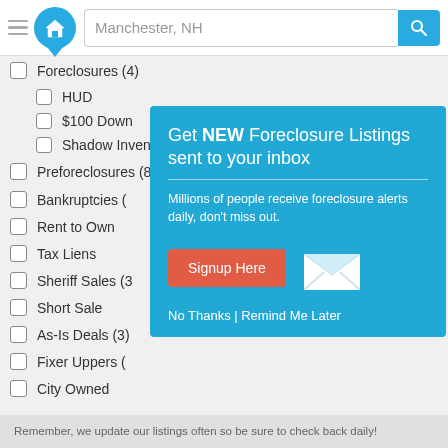Manchester, NH [search bar]
Foreclosures (4)
HUD
$100 Down
Shadow Inventory (1)
Preforeclosures (8)
Bankruptcies (
Rent to Own
Tax Liens
Sheriff Sales (3
Short Sale
As-Is Deals (3)
Fixer Uppers (
City Owned
[Figure (screenshot): Popup modal on teal/blue background: Get NEW Foreclosure Listings sent to your inbox. Millions of people receive foreclosure alerts daily, don't miss out. Signup Here button in red-orange. No Thanks | Remind Me Later links. White envelope icon.]
Remember, we update our listings often so be sure to check back daily!